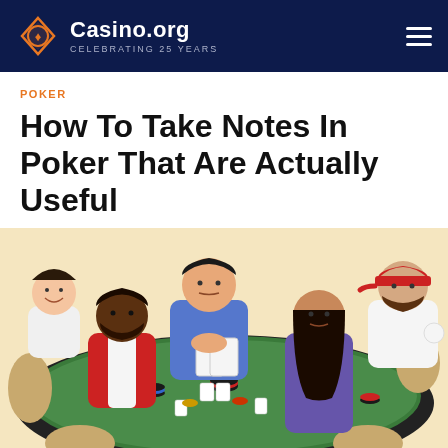Casino.org CELEBRATING 25 YEARS
POKER
How To Take Notes In Poker That Are Actually Useful
[Figure (illustration): Illustration of five people sitting around a green poker table playing cards, with poker chips on the table. Players include a man in a blue shirt holding cards, a woman with long dark hair in a purple shirt, a man in a red vest, and two others seated around the oval table. Chairs are beige/tan colored. Background is light yellow.]